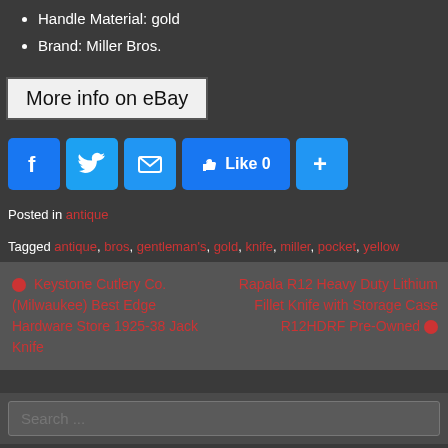Handle Material: gold
Brand: Miller Bros.
[Figure (other): More info on eBay button with grey/white background]
[Figure (other): Social media share buttons: Facebook, Twitter, Email, Like 0, Plus]
Posted in antique
Tagged antique, bros, gentleman's, gold, knife, miller, pocket, yellow
Keystone Cutlery Co. (Milwaukee) Best Edge Hardware Store 1925-38 Jack Knife | Rapala R12 Heavy Duty Lithium Fillet Knife with Storage Case R12HDRF Pre-Owned
Search ...